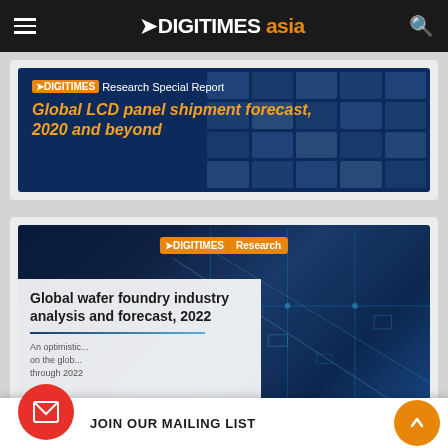DIGITIMES asia
[Figure (screenshot): DIGITIMES Research Special Report banner for Global LCD panel shipment forecast, 2020 and beyond]
Global LCD panel shipment forecast, 2020 and beyond
[Figure (screenshot): DIGITIMES Research report cover for Global wafer foundry industry analysis and forecast, 2022, with circuit board background]
Global wafer foundry industry analysis and forecast, 2022
An optimistic... on the glob... through 2022
JOIN OUR MAILING LIST